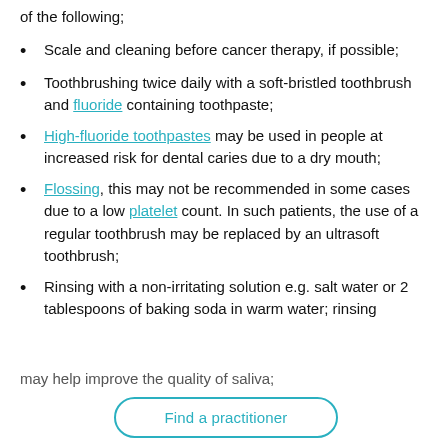of the following;
Scale and cleaning before cancer therapy, if possible;
Toothbrushing twice daily with a soft-bristled toothbrush and fluoride containing toothpaste;
High-fluoride toothpastes may be used in people at increased risk for dental caries due to a dry mouth;
Flossing, this may not be recommended in some cases due to a low platelet count. In such patients, the use of a regular toothbrush may be replaced by an ultrasoft toothbrush;
Rinsing with a non-irritating solution e.g. salt water or 2 tablespoons of baking soda in warm water; rinsing may help improve the quality of saliva;
Find a practitioner